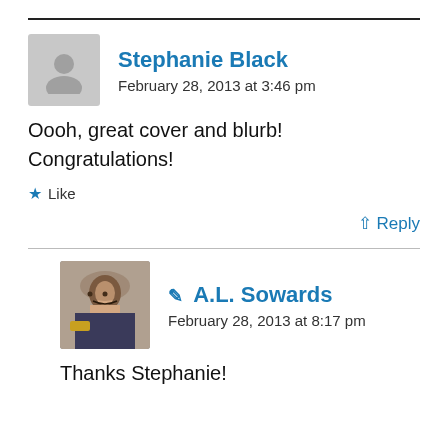Stephanie Black
February 28, 2013 at 3:46 pm
Oooh, great cover and blurb! Congratulations!
Like
↑ Reply
A.L. Sowards
February 28, 2013 at 8:17 pm
Thanks Stephanie!